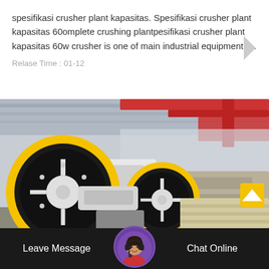spesifikasi crusher plant kapasitas. Spesifikasi crusher plant kapasitas 60omplete crushing plantpesifikasi crusher plant kapasitas 60w crusher is one of main industrial equipment i…
Relase Time : 01-12
[Figure (photo): Industrial jaw crusher machine with large black and yellow flywheels in a factory/warehouse setting with red overhead crane beams visible in the background.]
Leave Message  Chat Online